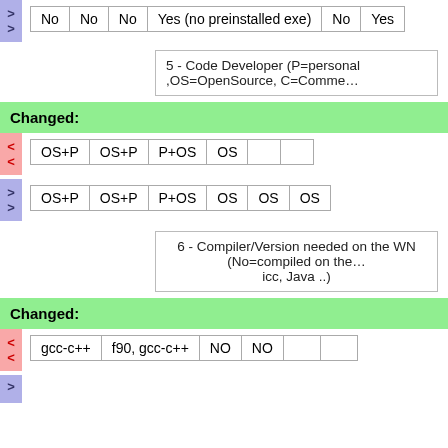| No | No | No | Yes (no preinstalled exe) | No | Yes |
5 - Code Developer (P=personal ,OS=OpenSource, C=Comme...
Changed:
| OS+P | OS+P | P+OS | OS |  |  |
| OS+P | OS+P | P+OS | OS | OS | OS |
6 - Compiler/Version needed on the WN (No=compiled on the... icc, Java ..)
Changed:
| gcc-c++ | f90, gcc-c++ | NO | NO |  |  |